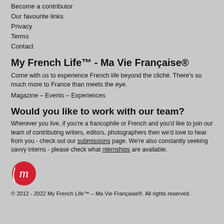Become a contributor
Our favourite links
Privacy
Terms
Contact
My French Life™ - Ma Vie Française®
Come with us to experience French life beyond the cliché. There's so much more to France than meets the eye.
Magazine – Events – Experiences
Would you like to work with our team?
Wherever you live, if you're a francophile or French and you'd like to join our team of contributing writers, editors, photographers then we'd love to hear from you - check out our submissions page. We're also constantly seeking savvy interns - please check what internships are available.
[Figure (logo): My French Life logo — red circle with cursive m]
© 2012 - 2022 My French Life™ – Ma Vie Française®. All rights reserved.